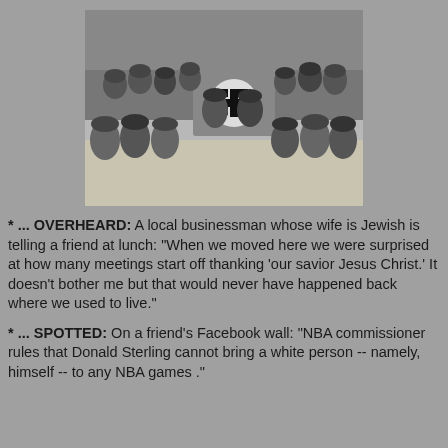[Figure (photo): Black and white historical photograph of a group of soldiers posing together, with one soldier holding a captured Nazi flag with a swastika symbol.]
* ... OVERHEARD: A local businessman whose wife is Jewish is telling a friend at lunch: "When we moved here we were surprised at how many meetings start off thanking 'our savior Jesus Christ.' It doesn't bother me but that would never have happened back where we used to live."
* ... SPOTTED: On a friend's Facebook wall: "NBA commissioner rules that Donald Sterling cannot bring a white person -- namely, himself -- to any NBA games ."